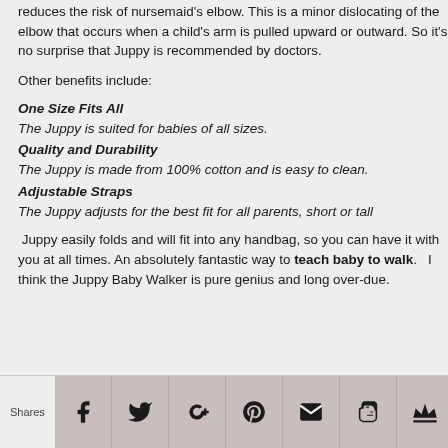reduces the risk of nursemaid's elbow. This is a minor dislocating of the elbow that occurs when a child's arm is pulled upward or outward. So it's no surprise that Juppy is recommended by doctors.
Other benefits include:
One Size Fits All
The Juppy is suited for babies of all sizes.
Quality and Durability
The Juppy is made from 100% cotton and is easy to clean.
Adjustable Straps
The Juppy adjusts for the best fit for all parents, short or tall
Juppy easily folds and will fit into any handbag, so you can have it with you at all times. An absolutely fantastic way to teach baby to walk. I think the Juppy Baby Walker is pure genius and long over-due.
Shares [social share icons: Facebook, Twitter, Google+, Pinterest, Email, Blogger, Crown]